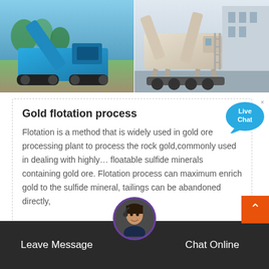[Figure (photo): Two mining/crushing machines side by side: left shows a blue tracked mobile crusher outdoors, right shows a large beige/white mobile screening plant on a trailer]
Gold flotation process
Flotation is a method that is widely used in gold ore processing plant to process the rock gold,commonly used in dealing with highly... floatable sulfide minerals containing gold ore. Flotation process can maximum enrich gold to the sulfide mineral, tailings can be abandoned directly,
[Figure (illustration): Live Chat speech bubble icon in blue]
[Figure (photo): Customer service agent avatar circle with purple border]
Leave Message    Chat Online